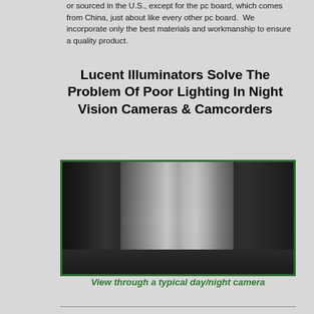or sourced in the U.S., except for the pc board, which comes from China, just about like every other pc board.  We incorporate only the best materials and workmanship to ensure a quality product.
Lucent Illuminators Solve The Problem Of Poor Lighting In Night Vision Cameras & Camcorders
[Figure (photo): Night vision / day-night camera view of a dark room with white curtains in the center, shelving on the left, and a chair on the right. Image has a dark greenish-gray tone typical of night vision cameras.]
View through a typical day/night camera